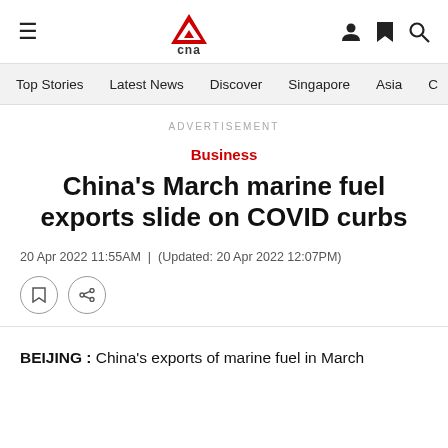CNA navigation header with hamburger menu, CNA logo, user icon, bookmark icon, search icon
Top Stories | Latest News | Discover | Singapore | Asia | C
ADVERTISEMENT
Business
China's March marine fuel exports slide on COVID curbs
20 Apr 2022 11:55AM  |  (Updated: 20 Apr 2022 12:07PM)
BEIJING : China's exports of marine fuel in March